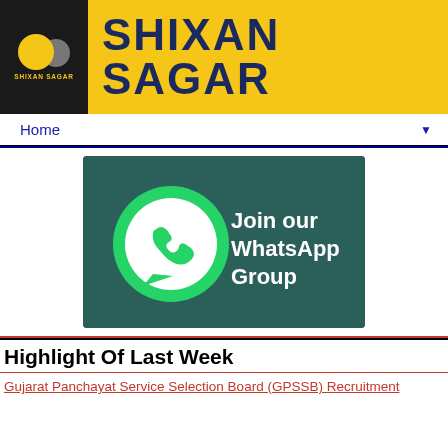[Figure (logo): Shixan Sagar website header banner with black logo box on left and yellow background with dark blue text 'SHIXAN SAGAR' on right]
Home ▼
[Figure (infographic): Join our WhatsApp Group promotional banner with WhatsApp logo on dark teal background]
Highlight Of Last Week
Gujarat Panchayat Service Selection Board (GPSSB) Recruitment